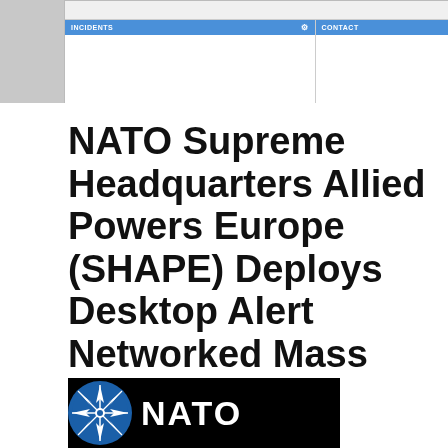[Figure (screenshot): Screenshot of a software application interface showing two panel fields labeled INCIDENTS and CONTACT with blue header bars and gear icons, on a grey background with white content area]
NATO Supreme Headquarters Allied Powers Europe (SHAPE) Deploys Desktop Alert Networked Mass Notification Platform
[Figure (logo): NATO logo with compass rose symbol in blue and white on black background with NATO text in white]